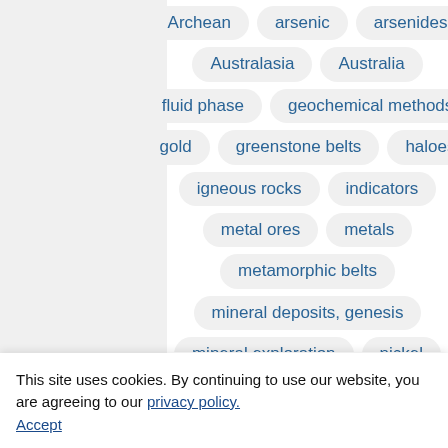Archean
arsenic
arsenides
Australasia
Australia
fluid phase
geochemical methods
gold
greenstone belts
haloes
igneous rocks
indicators
metal ores
metals
metamorphic belts
mineral deposits, genesis
mineral exploration
nickel
Latitude & Longitude
This site uses cookies. By continuing to use our website, you are agreeing to our privacy policy. Accept